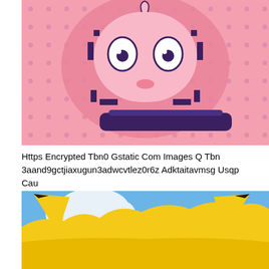[Figure (illustration): Pixel art illustration of a round pink Pokémon (Jigglypuff) on a pink background with purple dot pattern. The character has large white eyes and appears on a dark purple base/platform. Pink and lavender color scheme with halftone dot texture.]
Https Encrypted Tbn0 Gstatic Com Images Q Tbn 3aand9gctjiaxugun3adwcvtlez0r6z Adktaitavmsg Usqp Cau
[Figure (illustration): Illustration showing a large yellow Pokémon (Pikachu) against a blue sky background. Only the upper body/head area is visible, showing the distinctive yellow color and large pointed ears of the character.]